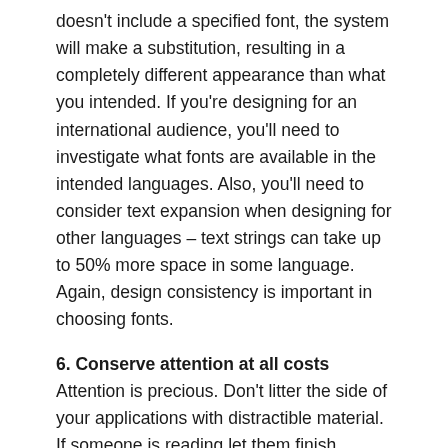doesn't include a specified font, the system will make a substitution, resulting in a completely different appearance than what you intended. If you're designing for an international audience, you'll need to investigate what fonts are available in the intended languages. Also, you'll need to consider text expansion when designing for other languages – text strings can take up to 50% more space in some language. Again, design consistency is important in choosing fonts.
6. Conserve attention at all costs
Attention is precious. Don't litter the side of your applications with distractible material. If someone is reading let them finish reading before showing that advertisement (if you must). Honor attention and not only will your readers be happier, your results will be better. We must conserve attention at all costs.
7. One primary action per screen